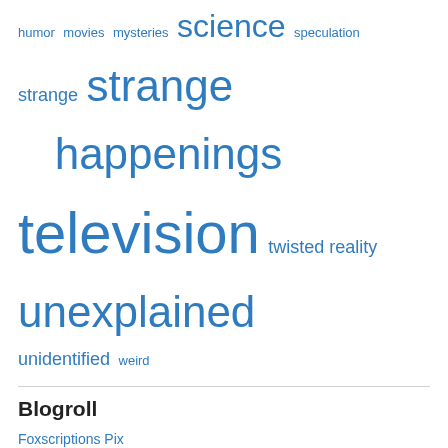humor  movies  mysteries  science  speculation  strange  strange happenings  television  twisted reality  unexplained  unidentified  weird
Blogroll
Foxscriptions Pix
Foxsylvania, The Podcast
[Figure (other): Follow FOXSYLVANIA button with WordPress logo]
Blog Stats
708,236 hits